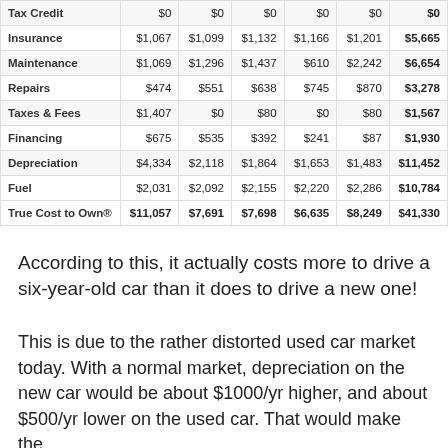|  | Yr 1 | Yr 2 | Yr 3 | Yr 4 | Yr 5 | Total |
| --- | --- | --- | --- | --- | --- | --- |
| Tax Credit | $0 | $0 | $0 | $0 | $0 | $0 |
| Insurance | $1,067 | $1,099 | $1,132 | $1,166 | $1,201 | $5,665 |
| Maintenance | $1,069 | $1,296 | $1,437 | $610 | $2,242 | $6,654 |
| Repairs | $474 | $551 | $638 | $745 | $870 | $3,278 |
| Taxes & Fees | $1,407 | $0 | $80 | $0 | $80 | $1,567 |
| Financing | $675 | $535 | $392 | $241 | $87 | $1,930 |
| Depreciation | $4,334 | $2,118 | $1,864 | $1,653 | $1,483 | $11,452 |
| Fuel | $2,031 | $2,092 | $2,155 | $2,220 | $2,286 | $10,784 |
| True Cost to Own® | $11,057 | $7,691 | $7,698 | $6,635 | $8,249 | $41,330 |
According to this, it actually costs more to drive a six-year-old car than it does to drive a new one!
This is due to the rather distorted used car market today. With a normal market, depreciation on the new car would be about $1000/yr higher, and about $500/yr lower on the used car. That would make the